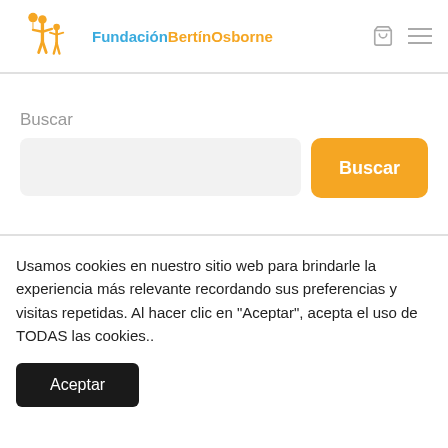[Figure (logo): Fundación Bertín Osborne logo with orange figures and blue/orange text]
Buscar
[Figure (screenshot): Search input field (empty, gray background) with orange Buscar button]
Usamos cookies en nuestro sitio web para brindarle la experiencia más relevante recordando sus preferencias y visitas repetidas. Al hacer clic en "Aceptar", acepta el uso de TODAS las cookies..
Aceptar